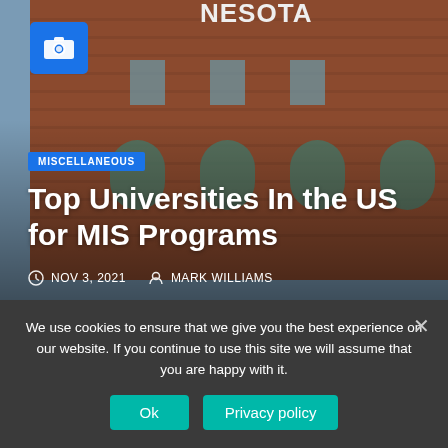[Figure (photo): University brick building exterior with arched windows, partial text 'NESOTA' visible at top. Blue camera icon overlay in top-left corner.]
MISCELLANEOUS
Top Universities In the US for MIS Programs
NOV 3, 2021  MARK WILLIAMS
[Figure (photo): Thumbnail image with dark background showing text 'HOW TO MAK MON' in white and gold/yellow letters, book cover style.]
MISCELLANEOUS
How to Make Money from Home
We use cookies to ensure that we give you the best experience on our website. If you continue to use this site we will assume that you are happy with it.
Ok  Privacy policy